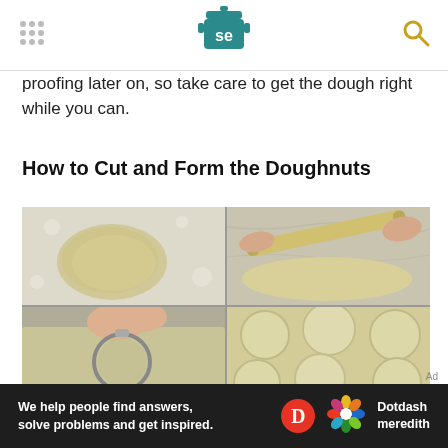Serious Eats logo with navigation dots and search icon
proofing later on, so take care to get the dough right while you can.
How to Cut and Form the Doughnuts
[Figure (photo): Four-panel photo grid showing doughnut dough preparation: (1) dough ball on floured marble surface, (2) hands rolling dough with rolling pin on marble surface, (3) hands using round cutter to cut dough, (4) cut dough circles arranged on surface]
We help people find answers, solve problems and get inspired. Dotdash meredith